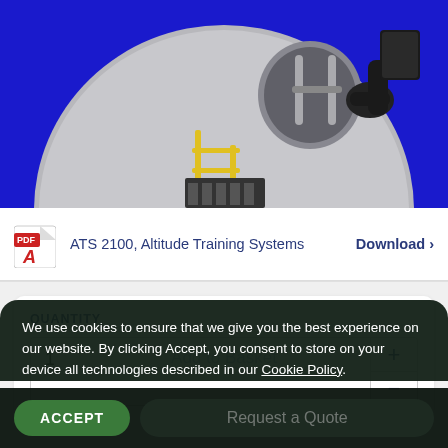[Figure (photo): Photo of an altitude training chamber (ATS 2100) with a round hatch door being opened by a gloved hand. Background is blue, chamber is silver/grey with yellow safety rails.]
ATS 2100, Altitude Training Systems   Download
QUANTITY
1
We use cookies to ensure that we give you the best experience on our website. By clicking Accept, you consent to store on your device all technologies described in our Cookie Policy.
Add to Basket
ACCEPT
Request a Quote